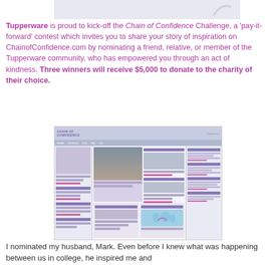[Figure (screenshot): Partial view of a decorative image at the top of the page, showing a light blue/purple design element on a light background]
Tupperware is proud to kick-off the Chain of Confidence Challenge, a 'pay-it-forward' contest which invites you to share your story of inspiration on ChainofConfidence.com by nominating a friend, relative, or member of the Tupperware community, who has empowered you through an act of kindness. Three winners will receive $5,000 to donate to the charity of their choice.
[Figure (screenshot): Screenshot of the ChainofConfidence.com website showing the Chain of Confidence challenge page with a woman's photo, navigation menus, sections for reading about the challenge, entering the challenge, and a world map showing global reach.]
I nominated my husband, Mark. Even before I knew what was happening between us in college, he inspired me and